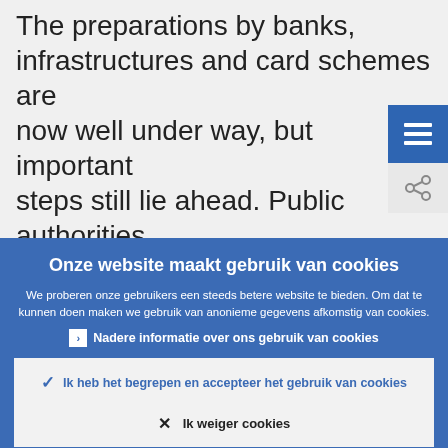The preparations by banks, infrastructures and card schemes are now well under way, but important steps still lie ahead. Public authorities
Onze website maakt gebruik van cookies
We proberen onze gebruikers een steeds betere website te bieden. Om dat te kunnen doen maken we gebruik van anonieme gegevens afkomstig van cookies.
Nadere informatie over ons gebruik van cookies
Ik heb het begrepen en accepteer het gebruik van cookies
Ik weiger cookies